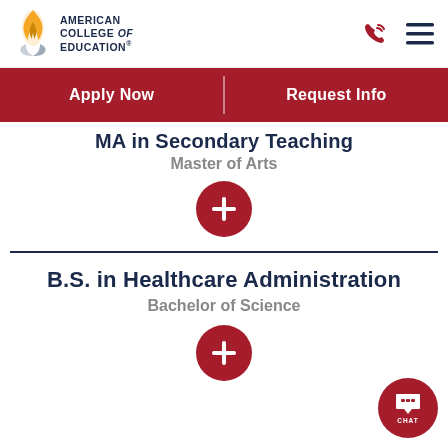American College of Education
Apply Now | Request Info
MA in Secondary Teaching
Master of Arts
[Figure (other): Red circular plus/expand button]
B.S. in Healthcare Administration
Bachelor of Science
[Figure (other): Red circular plus/expand button]
[Figure (other): Red circular chat button with CHAT label]